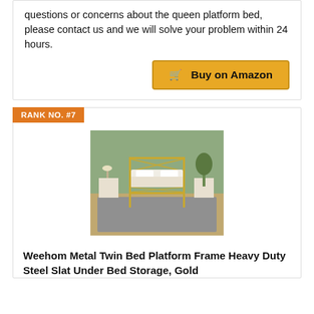questions or concerns about the queen platform bed, please contact us and we will solve your problem within 24 hours.
Buy on Amazon
RANK NO. #7
[Figure (photo): Gold metal twin bed platform frame with diamond-pattern headboard and footboard, white bedding, in a green-walled bedroom with a grey rug]
Weehom Metal Twin Bed Platform Frame Heavy Duty Steel Slat Under Bed Storage, Gold